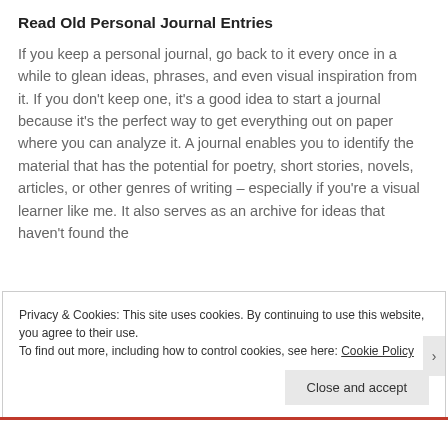Read Old Personal Journal Entries
If you keep a personal journal, go back to it every once in a while to glean ideas, phrases, and even visual inspiration from it. If you don't keep one, it's a good idea to start a journal because it's the perfect way to get everything out on paper where you can analyze it. A journal enables you to identify the material that has the potential for poetry, short stories, novels, articles, or other genres of writing – especially if you're a visual learner like me. It also serves as an archive for ideas that haven't found the
Privacy & Cookies: This site uses cookies. By continuing to use this website, you agree to their use.
To find out more, including how to control cookies, see here: Cookie Policy
Close and accept